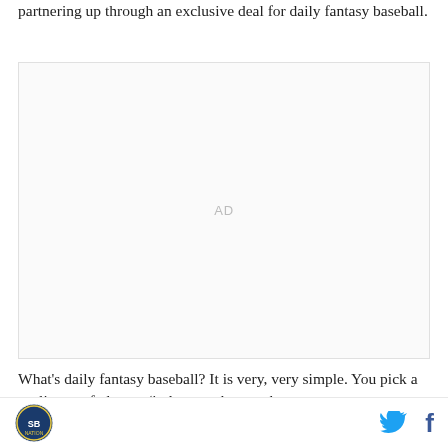partnering up through an exclusive deal for daily fantasy baseball.
[Figure (other): Advertisement placeholder area with 'AD' label in center]
What's daily fantasy baseball? It is very, very simple. You pick a set lineup of players (it does not have to be
Site logo, Twitter icon, Facebook icon